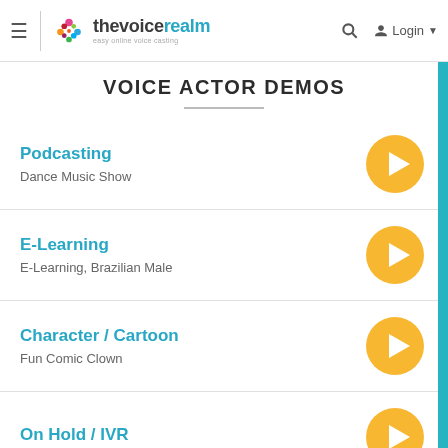thevoicerealm — easy online voice casting — Login
VOICE ACTOR DEMOS
Podcasting — Dance Music Show
E-Learning — E-Learning, Brazilian Male
Character / Cartoon — Fun Comic Clown
On Hold / IVR